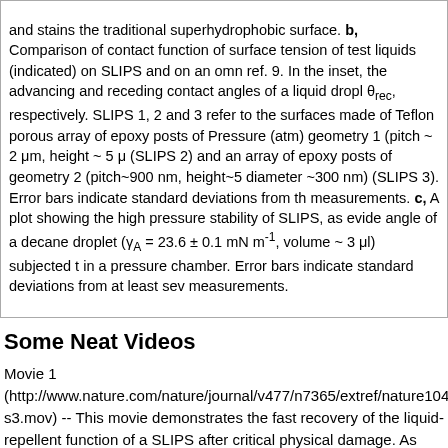and stains the traditional superhydrophobic surface. b, Comparison of contact function of surface tension of test liquids (indicated) on SLIPS and on an omn ref. 9. In the inset, the advancing and receding contact angles of a liquid dropl θrec, respectively. SLIPS 1, 2 and 3 refer to the surfaces made of Teflon porous array of epoxy posts of Pressure (atm) geometry 1 (pitch ~ 2 μm, height ~ 5 μ (SLIPS 2) and an array of epoxy posts of geometry 2 (pitch~900 nm, height~5 diameter ~300 nm) (SLIPS 3). Error bars indicate standard deviations from th measurements. c, A plot showing the high pressure stability of SLIPS, as evide angle of a decane droplet (γA = 23.6 ± 0.1 mN m-1, volume ~ 3 μl) subjected t in a pressure chamber. Error bars indicate standard deviations from at least sev measurements.
Some Neat Videos
Movie 1 (http://www.nature.com/nature/journal/v477/n7365/extref/nature1044 s3.mov) -- This movie demonstrates the fast recovery of the liquid-repellent function of a SLIPS after critical physical damage. As seen from the movie, the crude oil droplet is pinned on a nanostructured superhydrophobic surface (without lubricating fluid), while the droplet maintains its mobility on the SLIPS. Extra-light crude oil (from Appalachian Basin, USA) was used as the test liquid for